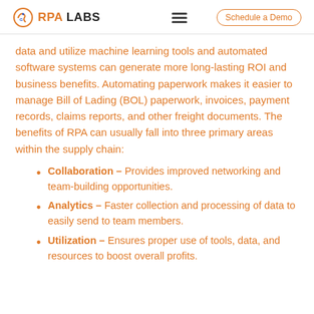RPA LABS   Schedule a Demo
data and utilize machine learning tools and automated software systems can generate more long-lasting ROI and business benefits. Automating paperwork makes it easier to manage Bill of Lading (BOL) paperwork, invoices, payment records, claims reports, and other freight documents. The benefits of RPA can usually fall into three primary areas within the supply chain:
Collaboration – Provides improved networking and team-building opportunities.
Analytics – Faster collection and processing of data to easily send to team members.
Utilization – Ensures proper use of tools, data, and resources to boost overall profits.